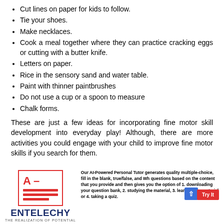Cut lines on paper for kids to follow.
Tie your shoes.
Make necklaces.
Cook a meal together where they can practice cracking eggs or cutting with a butter knife.
Letters on paper.
Rice in the sensory sand and water table.
Paint with thinner paintbrushes
Do not use a cup or a spoon to measure
Chalk forms.
These are just a few ideas for incorporating fine motor skill development into everyday play! Although, there are more activities you could engage with your child to improve fine motor skills if you search for them.
[Figure (logo): Entelechy AI-powered personal tutor advertisement with logo showing A- grade icon and red lines, brand name ENTELECHY in navy blue, and tagline THE REALIZATION OF POTENTIAL]
Our AI-Powered Personal Tutor generates quality multiple-choice, fill in the blank, true/false, and Wh questions based on the content that you provide and then gives you the option of 1. downloading your question bank, 2. studying the material, 3. learning the material or 4. taking a quiz.